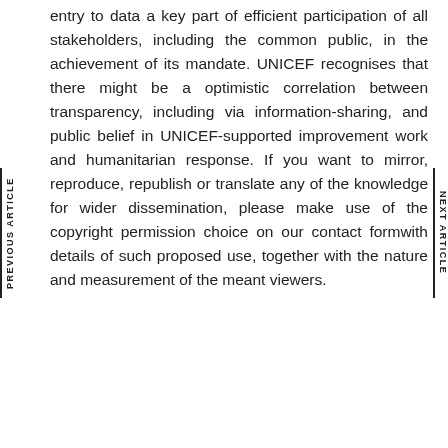entry to data a key part of efficient participation of all stakeholders, including the common public, in the achievement of its mandate. UNICEF recognises that there might be a optimistic correlation between transparency, including via information-sharing, and public belief in UNICEF-supported improvement work and humanitarian response. If you want to mirror, reproduce, republish or translate any of the knowledge for wider dissemination, please make use of the copyright permission choice on our contact formwith details of such proposed use, together with the nature and measurement of the meant viewers.